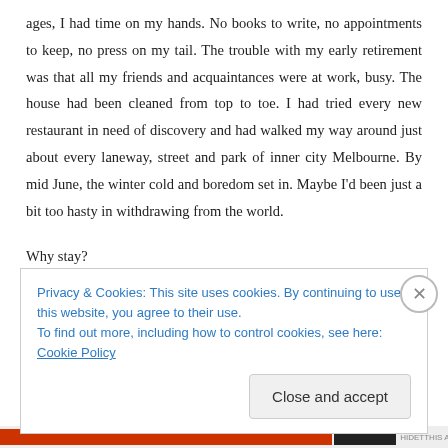ages, I had time on my hands. No books to write, no appointments to keep, no press on my tail. The trouble with my early retirement was that all my friends and acquaintances were at work, busy. The house had been cleaned from top to toe. I had tried every new restaurant in need of discovery and had walked my way around just about every laneway, street and park of inner city Melbourne. By mid June, the winter cold and boredom set in. Maybe I’d been just a bit too hasty in withdrawing from the world.
Why stay?
Like a moth to the flame, I was being drawn to warmth. I set off and after a
Privacy & Cookies: This site uses cookies. By continuing to use this website, you agree to their use.
To find out more, including how to control cookies, see here: Cookie Policy
Close and accept